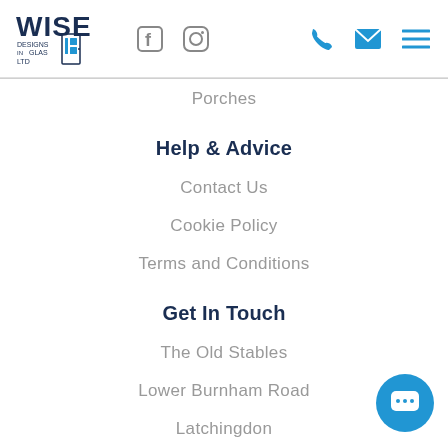[Figure (logo): Wise Designs in Glass Ltd logo with Facebook and Instagram icons, phone, email, and hamburger menu icons in header]
Porches
Help & Advice
Contact Us
Cookie Policy
Terms and Conditions
Get In Touch
The Old Stables
Lower Burnham Road
Latchingdon
Chelmsford
CM3 6HE